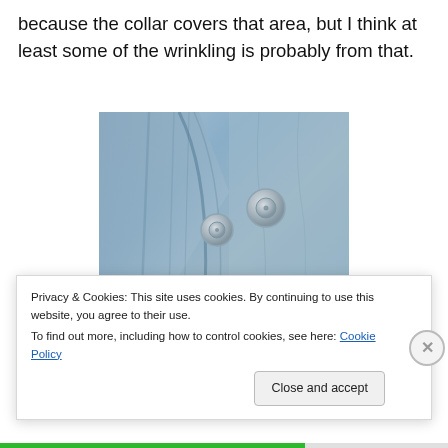because the collar covers that area, but I think at least some of the wrinkling is probably from that.
[Figure (photo): Close-up photo of a blue-grey fabric garment showing snap buttons/fasteners on the collar area, with a small white rectangular device visible at the bottom of the frame.]
Privacy & Cookies: This site uses cookies. By continuing to use this website, you agree to their use.
To find out more, including how to control cookies, see here: Cookie Policy